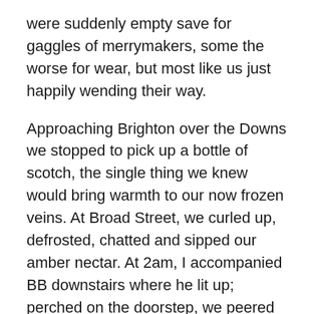were suddenly empty save for gaggles of merrymakers, some the worse for wear, but most like us just happily wending their way.
Approaching Brighton over the Downs we stopped to pick up a bottle of scotch, the single thing we knew would bring warmth to our now frozen veins. At Broad Street, we curled up, defrosted, chatted and sipped our amber nectar. At 2am, I accompanied BB downstairs where he lit up; perched on the doorstep, we peered either side to find others doing much the same on adjacent steps; we were surrounded by late-night camaraderie.
A couple approached our B&B in some disarray, he clutching a take-away and swaying. I want to stay out, he announced to us, but she won't let me! She glowered at him. As he shook BB's hand congratulating him on being